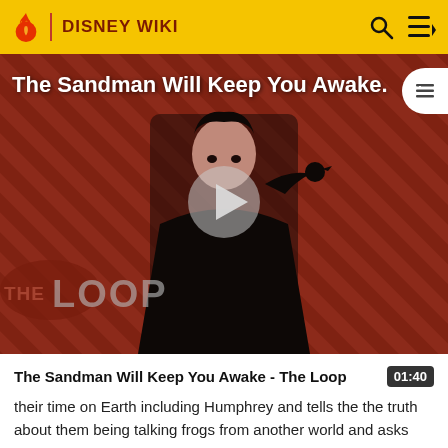DISNEY WIKI
[Figure (screenshot): Video thumbnail for 'The Sandman Will Keep You Awake - The Loop' showing a dark-costumed figure with a crow against a red diagonal striped background, with THE LOOP logo overlay and a play button in the center]
The Sandman Will Keep You Awake - The Loop
their time on Earth including Humphrey and tells the the truth about them being talking frogs from another world and asks everyone for help saving them which they all